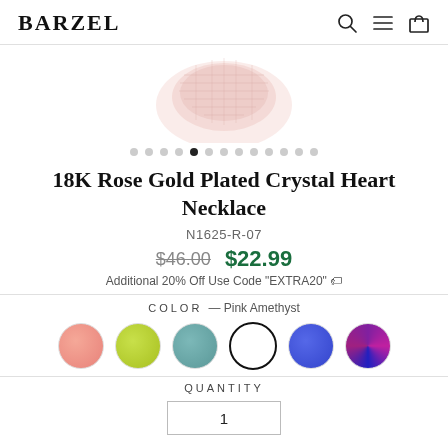BARZEL
[Figure (photo): Partial product image showing the top of a crystal heart necklace pendant in rose/pink tones, cropped at top of page]
18K Rose Gold Plated Crystal Heart Necklace
N1625-R-07
$46.00  $22.99
Additional 20% Off Use Code "EXTRA20" 🏷
COLOR — Pink Amethyst
QUANTITY